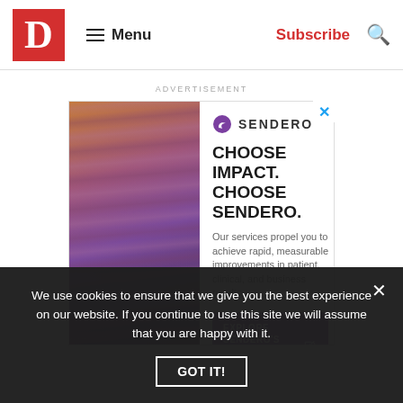D  Menu  Subscribe  🔍
ADVERTISEMENT
[Figure (illustration): Sendero advertisement with canyon photo on left and text on right: CHOOSE IMPACT. CHOOSE SENDERO. Our services propel you to achieve rapid, measurable improvements in patient, clinical, and business results. EXPLORE SENDERO'S HEALTHCARE EXPERTISE]
We use cookies to ensure that we give you the best experience on our website. If you continue to use this site we will assume that you are happy with it.
GOT IT!